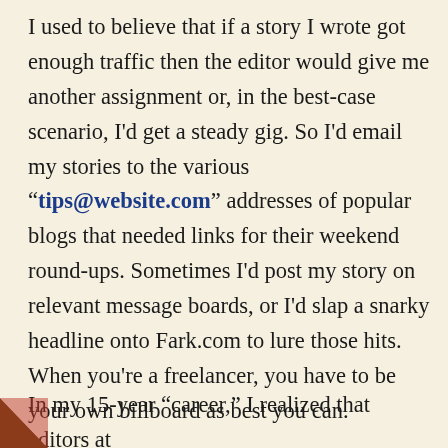I used to believe that if a story I wrote got enough traffic then the editor would give me another assignment or, in the best-case scenario, I'd get a steady gig. So I'd email my stories to the various “tips@website.com” addresses of popular blogs that needed links for their weekend round-ups. Sometimes I’d post my story on relevant message boards, or I’d slap a snarky headline onto Fark.com to lure those hits. When you’re a freelancer, you have to be your own billboard as best you can.
In my 15-year “career,” I realized that editors at publications largely treat freelancers, well not